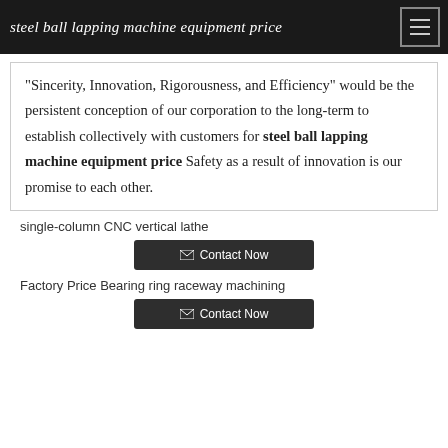steel ball lapping machine equipment price
"Sincerity, Innovation, Rigorousness, and Efficiency" would be the persistent conception of our corporation to the long-term to establish collectively with customers for steel ball lapping machine equipment price Safety as a result of innovation is our promise to each other.
single-column CNC vertical lathe
Contact Now
Factory Price Bearing ring raceway machining
Contact Now